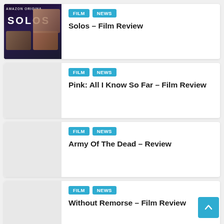[Figure (screenshot): Solos Amazon Original movie poster thumbnail showing cast faces on dark background]
FILM  NEWS
Solos – Film Review
FILM  NEWS
Pink: All I Know So Far – Film Review
FILM  NEWS
Army Of The Dead – Review
FILM  NEWS
Without Remorse – Film Review